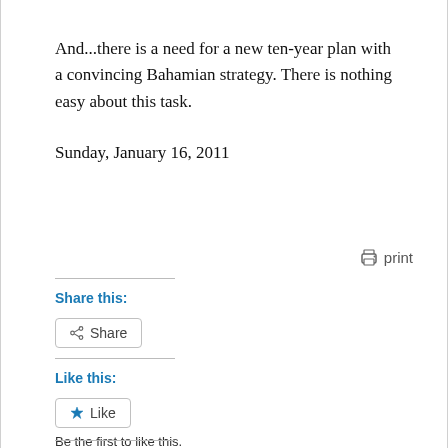And...there is a need for a new ten-year plan with a convincing Bahamian strategy. There is nothing easy about this task.
Sunday, January 16, 2011
print
Share this:
Share
Like this:
Like
Be the first to like this.
Related